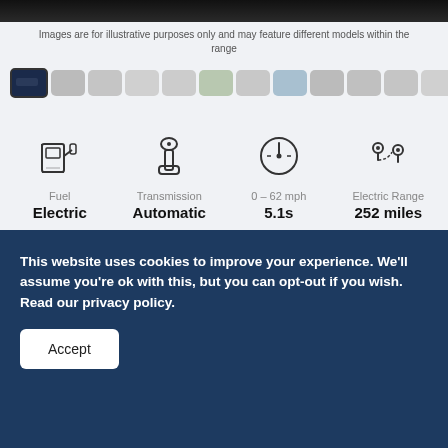[Figure (photo): Top portion of a car image, dark background]
Images are for illustrative purposes only and may feature different models within the range
[Figure (photo): Row of 12 car thumbnail images for selecting different views]
[Figure (infographic): Vehicle specs: Fuel Electric, Transmission Automatic, 0-62 mph 5.1s, Electric Range 252 miles]
This website uses cookies to improve your experience. We'll assume you're ok with this, but you can opt-out if you wish. Read our privacy policy.
Accept